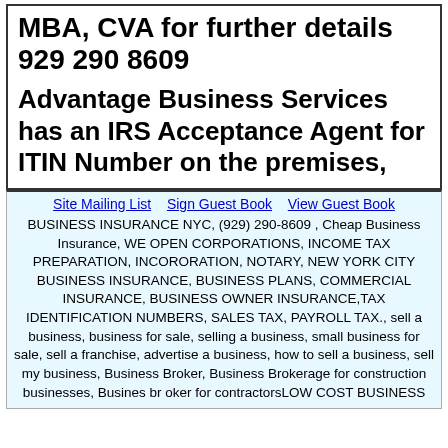MBA, CVA for further details 929 290 8609
Advantage Business Services has an IRS Acceptance Agent for ITIN Number on the premises,
Site Mailing List  Sign Guest Book  View Guest Book
BUSINESS INSURANCE NYC, (929) 290-8609 , Cheap Business Insurance, WE OPEN CORPORATIONS, INCOME TAX PREPARATION, INCORORATION, NOTARY, NEW YORK CITY BUSINESS INSURANCE, BUSINESS PLANS, COMMERCIAL INSURANCE, BUSINESS OWNER INSURANCE,TAX IDENTIFICATION NUMBERS, SALES TAX, PAYROLL TAX., sell a business, business for sale, selling a business, small business for sale, sell a franchise, advertise a business, how to sell a business, sell my business, Business Broker, Business Brokerage for construction businesses, Busines br oker for contractorsLOW COST BUSINESS